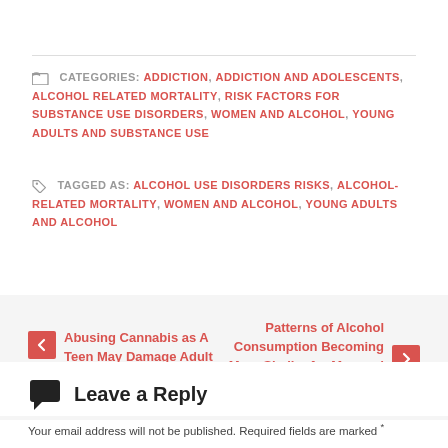CATEGORIES: ADDICTION, ADDICTION AND ADOLESCENTS, ALCOHOL RELATED MORTALITY, RISK FACTORS FOR SUBSTANCE USE DISORDERS, WOMEN AND ALCOHOL, YOUNG ADULTS AND SUBSTANCE USE
TAGGED AS: ALCOHOL USE DISORDERS RISKS, ALCOHOL-RELATED MORTALITY, WOMEN AND ALCOHOL, YOUNG ADULTS AND ALCOHOL
← Abusing Cannabis as A Teen May Damage Adult Memory
Patterns of Alcohol Consumption Becoming More Similar for Men and Women →
Leave a Reply
Your email address will not be published. Required fields are marked *